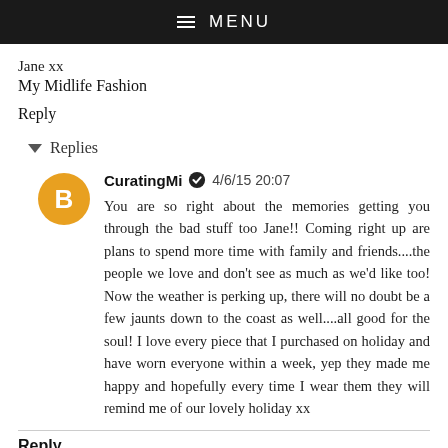≡ MENU
Jane xx
My Midlife Fashion
Reply
▾ Replies
CuratingMi ✔ 4/6/15 20:07
You are so right about the memories getting you through the bad stuff too Jane!! Coming right up are plans to spend more time with family and friends....the people we love and don't see as much as we'd like too! Now the weather is perking up, there will no doubt be a few jaunts down to the coast as well....all good for the soul! I love every piece that I purchased on holiday and have worn everyone within a week, yep they made me happy and hopefully every time I wear them they will remind me of our lovely holiday xx
Reply